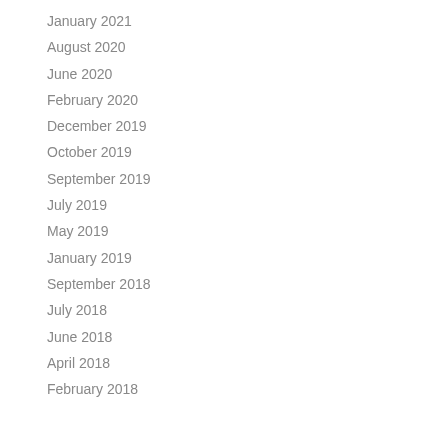January 2021
August 2020
June 2020
February 2020
December 2019
October 2019
September 2019
July 2019
May 2019
January 2019
September 2018
July 2018
June 2018
April 2018
February 2018